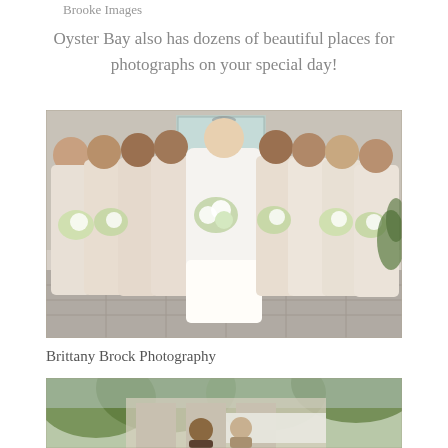Brooke Images
Oyster Bay also has dozens of beautiful places for photographs on your special day!
[Figure (photo): A bride in a white gown surrounded by bridesmaids in champagne/blush long dresses, all holding white and green floral bouquets, posing outdoors on a stone patio.]
Brittany Brock Photography
[Figure (photo): Outdoor wedding scene with people, partially visible at bottom of page.]